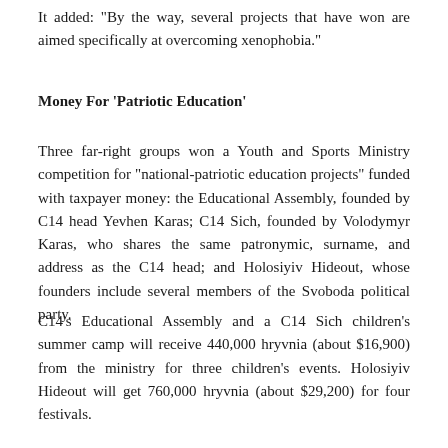It added: "By the way, several projects that have won are aimed specifically at overcoming xenophobia."
Money For 'Patriotic Education'
Three far-right groups won a Youth and Sports Ministry competition for "national-patriotic education projects" funded with taxpayer money: the Educational Assembly, founded by C14 head Yevhen Karas; C14 Sich, founded by Volodymyr Karas, who shares the same patronymic, surname, and address as the C14 head; and Holosiyiv Hideout, whose founders include several members of the Svoboda political party.
C14's Educational Assembly and a C14 Sich children's summer camp will receive 440,000 hryvnia (about $16,900) from the ministry for three children's events. Holosiyiv Hideout will get 760,000 hryvnia (about $29,200) for four festivals.